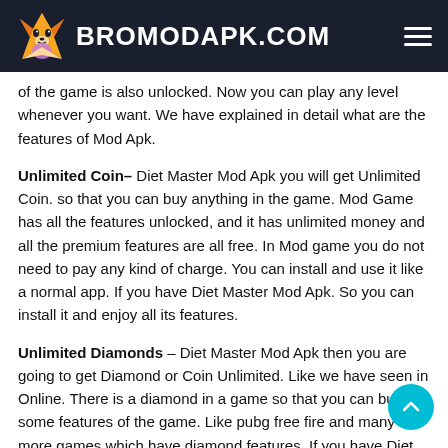BROMODAPK.COM
of the game is also unlocked. Now you can play any level whenever you want. We have explained in detail what are the features of Mod Apk.
Unlimited Coin– Diet Master Mod Apk you will get Unlimited Coin. so that you can buy anything in the game. Mod Game has all the features unlocked, and it has unlimited money and all the premium features are all free. In Mod game you do not need to pay any kind of charge. You can install and use it like a normal app. If you have Diet Master Mod Apk. So you can install it and enjoy all its features.
Unlimited Diamonds – Diet Master Mod Apk then you are going to get Diamond or Coin Unlimited. Like we have seen in Online. There is a diamond in a game so that you can buy some features of the game. Like pubg free fire and many more games which have diamond features. If you have Diet Master mood